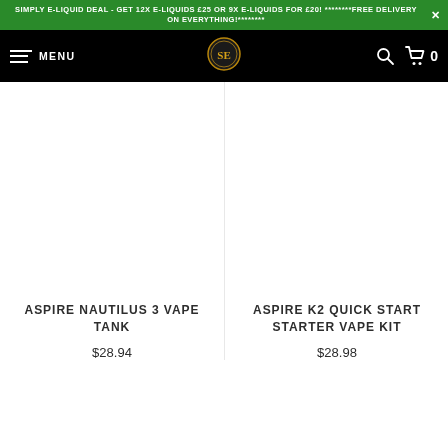SIMPLY E-LIQUID DEAL - GET 12X E-LIQUIDS £25 OR 9X E-LIQUIDS FOR £20! ********FREE DELIVERY ON EVERYTHING!********
[Figure (screenshot): Navigation bar with hamburger menu (MENU), SE logo, search icon, and cart icon with 0 items]
[Figure (photo): Product image for Aspire Nautilus 3 Vape Tank (white/blank area)]
ASPIRE NAUTILUS 3 VAPE TANK
$28.94
[Figure (photo): Product image for Aspire K2 Quick Start Starter Vape Kit (white/blank area)]
ASPIRE K2 QUICK START STARTER VAPE KIT
$28.98